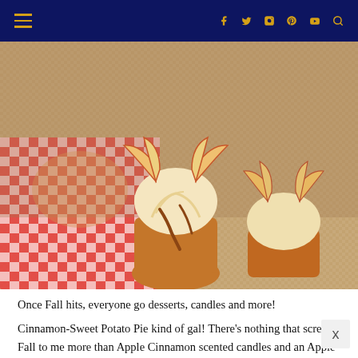Navigation bar with hamburger menu and social icons: f (Facebook), Twitter, Instagram, Pinterest, YouTube, Search
[Figure (photo): Close-up photo of apple cupcakes with cream frosting topped with thin apple slices arranged like butterfly wings, drizzled with caramel sauce, on a woven mat. A red and white checkered cloth is visible on the left side.]
Once Fall hits, everyone go desserts, candles and more! Cinnamon-Sweet Potato Pie kind of gal! There's nothing that screams Fall to me more than Apple Cinnamon scented candles and an Apple P